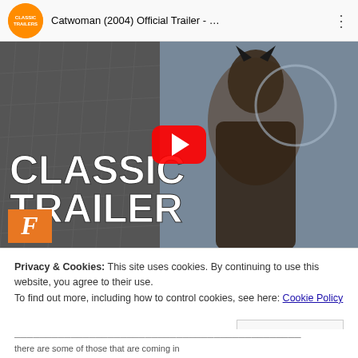[Figure (screenshot): YouTube video player showing Catwoman (2004) Official Trailer with Classic Trailers channel logo, video thumbnail of Catwoman in black costume with play button overlay, and Fandango badge]
Privacy & Cookies: This site uses cookies. By continuing to use this website, you agree to their use.
To find out more, including how to control cookies, see here: Cookie Policy
Close and accept
(partially visible bottom text lines)